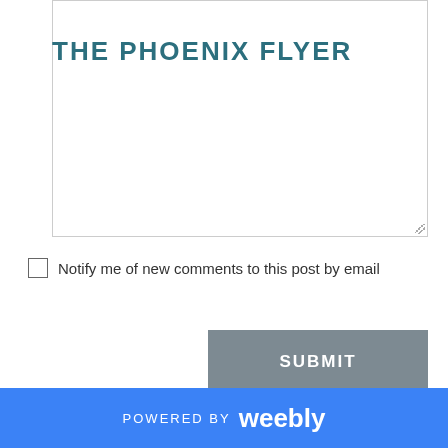THE PHOENIX FLYER
Notify me of new comments to this post by email
[Figure (screenshot): Submit button - gray rectangular button with white uppercase text 'SUBMIT']
[Figure (photo): Photo of a young man smiling, taken indoors with green ceiling visible in background]
POWERED BY weebly